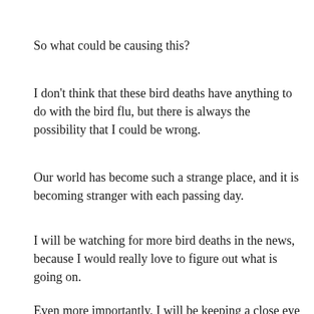So what could be causing this?
I don't think that these bird deaths have anything to do with the bird flu, but there is always the possibility that I could be wrong.
Our world has become such a strange place, and it is becoming stranger with each passing day.
I will be watching for more bird deaths in the news, because I would really love to figure out what is going on.
Even more importantly, I will be keeping a close eye on this new bird flu outbreak.
I have consistently warned that we are entering an era of